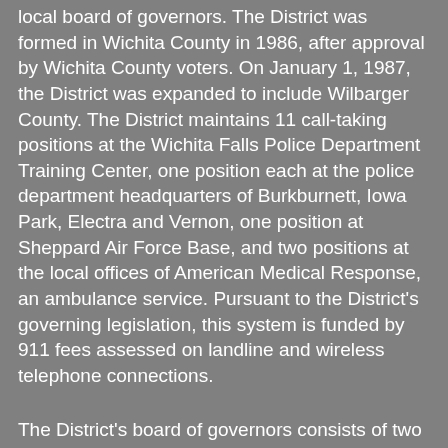local board of governors. The District was formed in Wichita County in 1986, after approval by Wichita County voters. On January 1, 1987, the District was expanded to include Wilbarger County. The District maintains 11 call-taking positions at the Wichita Falls Police Department Training Center, one position each at the police department headquarters of Burkburnett, Iowa Park, Electra and Vernon, one position at Sheppard Air Force Base, and two positions at the local offices of American Medical Response, an ambulance service. Pursuant to the District's governing legislation, this system is funded by 911 fees assessed on landline and wireless telephone connections.
The District's board of governors consists of two representatives from Wichita County, one representative from Wilbarger County, two representatives from municipal governments, and one representative for the volunteer fire departments. The members of the current board of